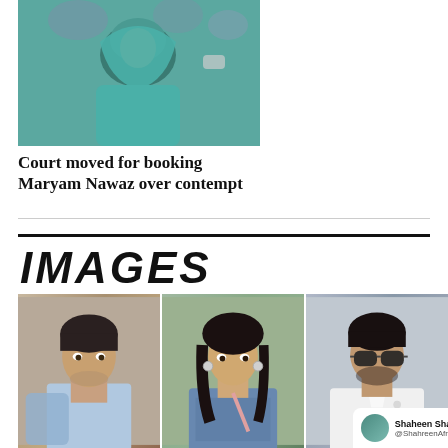[Figure (photo): Woman in teal/turquoise hijab and outfit, photo appears to be of Maryam Nawaz]
Court moved for booking Maryam Nawaz over contempt
[Figure (logo): IMAGES section logo in bold italic black text]
[Figure (photo): Three celebrity photos side by side: a young man in casual shirt, a young woman in traditional Pakistani outfit, and a man with sunglasses in white shirt. A Twitter/social media overlay shows Shaheen Shah Afridi @Shaheen Afridi with verified badge.]